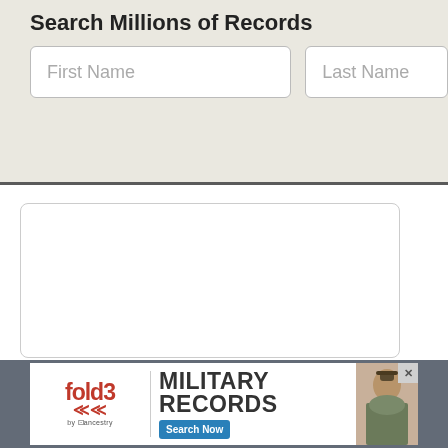Search Millions of Records
First Name
Last Name
[Figure (screenshot): Empty white content box with rounded corners, top content panel]
[Figure (screenshot): Empty white content box with rounded corners, main content panel]
[Figure (screenshot): Fold3 by Ancestry military records advertisement banner with Search Now button and soldier photo]